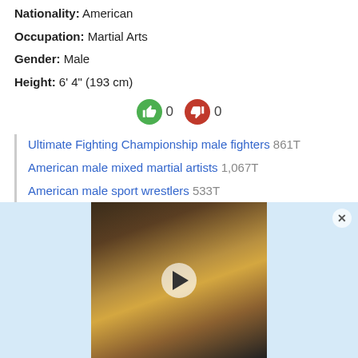Nationality: American
Occupation: Martial Arts
Gender: Male
Height: 6' 4" (193 cm)
[Figure (other): Thumbs up (green) with count 0 and thumbs down (red) with count 0 voting buttons]
Ultimate Fighting Championship male fighters 861T
American male mixed martial artists 1,067T
American male sport wrestlers 533T
12. Mark Davis
Pornographic actor
Encounter (Generated) view couple
[Figure (photo): Advertisement overlay showing a woman in a gold dress, with a play button overlay, on a light blue background]